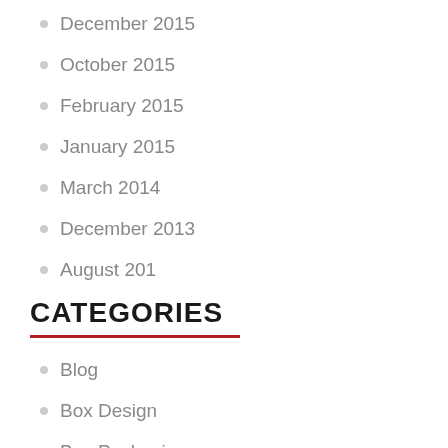December 2015
October 2015
February 2015
January 2015
March 2014
December 2013
August 201
CATEGORIES
Blog
Box Design
Box Packaging